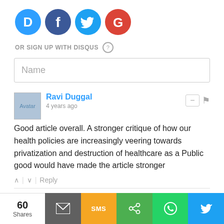[Figure (logo): Social login icons: Disqus (blue D), Facebook (dark blue f), Twitter (light blue bird), Google (red G)]
OR SIGN UP WITH DISQUS ?
Name
Ravi Duggal · 4 years ago
Good article overall. A stronger critique of how our health policies are increasingly veering towards privatization and destruction of healthcare as a Public good would have made the article stronger
^ | v Reply
Subscribe  Do Not Sell My Data  DISQUS
[Figure (screenshot): Share bar at bottom: 60 Shares, email, SMS, share, WhatsApp, Twitter buttons]